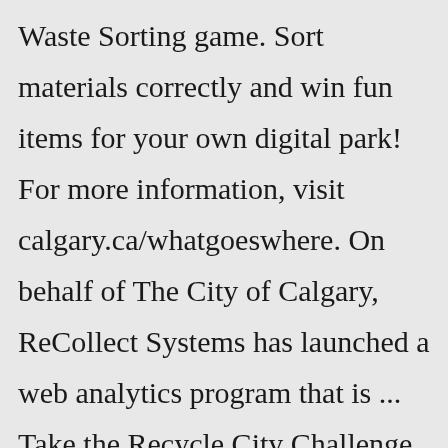Waste Sorting game. Sort materials correctly and win fun items for your own digital park! For more information, visit calgary.ca/whatgoeswhere. On behalf of The City of Calgary, ReCollect Systems has launched a web analytics program that is ... Take the Recycle City Challenge Our new Recycle City Challenge will test your knowledge of how everyday decisions can cut waste and energy use – at home, school,